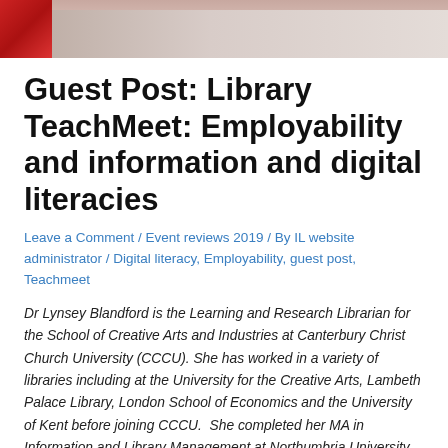[Figure (photo): Top portion of a photo showing a red book cover and a surface, likely a desk or table.]
Guest Post: Library TeachMeet: Employability and information and digital literacies
Leave a Comment / Event reviews 2019 / By IL website administrator / Digital literacy, Employability, guest post, Teachmeet
Dr Lynsey Blandford is the Learning and Research Librarian for the School of Creative Arts and Industries at Canterbury Christ Church University (CCCU). She has worked in a variety of libraries including at the University for the Creative Arts, Lambeth Palace Library, London School of Economics and the University of Kent before joining CCCU.  She completed her MA in Information and Library Management at Northumbria University and is currently